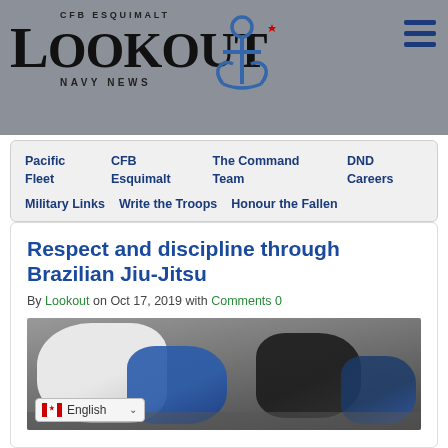[Figure (logo): CFB Esquimalt Lookout Navy News logo with anchor graphic on grey background]
CFB ESQUIMALT
LOOKOUT
NAVY NEWS
Pacific Fleet
CFB Esquimalt
The Command Team
DND Careers
Military Links
Write the Troops
Honour the Fallen
Respect and discipline through Brazilian Jiu-Jitsu
By Lookout on Oct 17, 2019 with Comments 0
[Figure (photo): BJJ practitioners in white and blue gis practicing Brazilian Jiu-Jitsu in what appears to be a military facility]
English